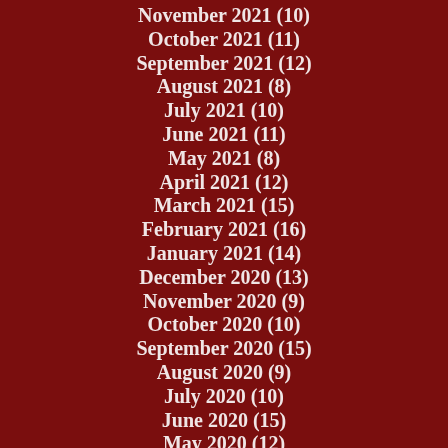November 2021 (10)
October 2021 (11)
September 2021 (12)
August 2021 (8)
July 2021 (10)
June 2021 (11)
May 2021 (8)
April 2021 (12)
March 2021 (15)
February 2021 (16)
January 2021 (14)
December 2020 (13)
November 2020 (9)
October 2020 (10)
September 2020 (15)
August 2020 (9)
July 2020 (10)
June 2020 (15)
May 2020 (12)